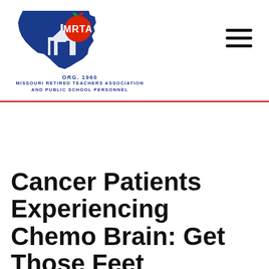[Figure (logo): MRTA Missouri Retired Teachers Association and Public School Personnel logo — blue Missouri state silhouette with capitol building, red apple, white MRTA text, ORG. 1960]
Cancer Patients Experiencing Chemo Brain: Get Those Feet